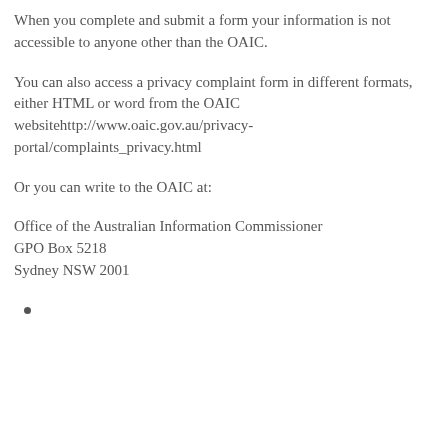When you complete and submit a form your information is not accessible to anyone other than the OAIC.
You can also access a privacy complaint form in different formats, either HTML or word from the OAIC websitehttp://www.oaic.gov.au/privacy-portal/complaints_privacy.html
Or you can write to the OAIC at:
Office of the Australian Information Commissioner
GPO Box 5218
Sydney NSW 2001